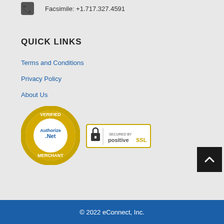Facsimile: +1.717.327.4591
QUICK LINKS
Terms and Conditions
Privacy Policy
About Us
[Figure (logo): Authorize.Net Verified Merchant seal - gold gear/badge with blue Authorize.Net text]
[Figure (logo): Secured by PositiveSSL badge - white/gold bordered rectangle with padlock icon]
© 2022 eConnect, Inc.